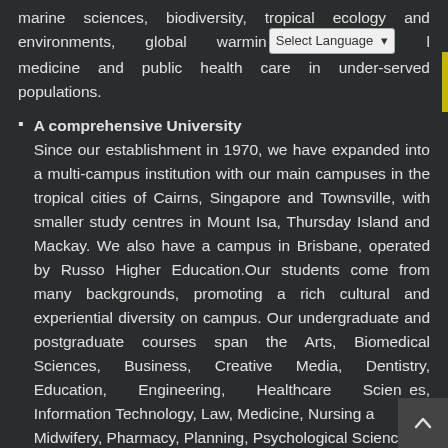marine sciences, biodiversity, tropical ecology and environments, global warming, [Select Language] medicine and public health care in under-served populations.
A comprehensive University
Since our establishment in 1970, we have expanded into a multi-campus institution with our main campuses in the tropical cities of Cairns, Singapore and Townsville, with smaller study centres in Mount Isa, Thursday Island and Mackay. We also have a campus in Brisbane, operated by Russo Higher Education.Our students come from many backgrounds, promoting a rich cultural and experiential diversity on campus. Our undergraduate and postgraduate courses span the Arts, Biomedical Sciences, Business, Creative Media, Dentistry, Education, Engineering, Healthcare Sciences, Information Technology, Law, Medicine, Nursing and Midwifery, Pharmacy, Planning, Psychological Science,